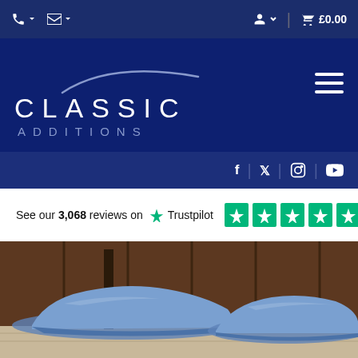Classic Additions – phone, email, account, cart £0.00
[Figure (logo): Classic Additions logo on dark blue background with hamburger menu]
Social media links: f | Twitter | Instagram | YouTube
See our 3,068 reviews on ★ Trustpilot [5 green stars]
[Figure (photo): Two cars covered with blue car covers parked inside a barn/garage with wooden walls]